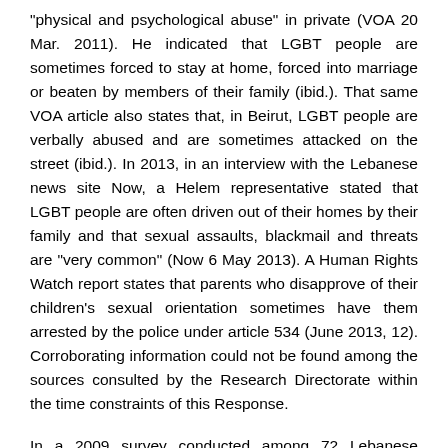"physical and psychological abuse" in private (VOA 20 Mar. 2011). He indicated that LGBT people are sometimes forced to stay at home, forced into marriage or beaten by members of their family (ibid.). That same VOA article also states that, in Beirut, LGBT people are verbally abused and are sometimes attacked on the street (ibid.). In 2013, in an interview with the Lebanese news site Now, a Helem representative stated that LGBT people are often driven out of their homes by their family and that sexual assaults, blackmail and threats are "very common" (Now 6 May 2013). A Human Rights Watch report states that parents who disapprove of their children's sexual orientation sometimes have them arrested by the police under article 534 (June 2013, 12). Corroborating information could not be found among the sources consulted by the Research Directorate within the time constraints of this Response.
In a 2009 survey conducted among 72 Lebanese doctors, a researcher indicates that that 49 percent of